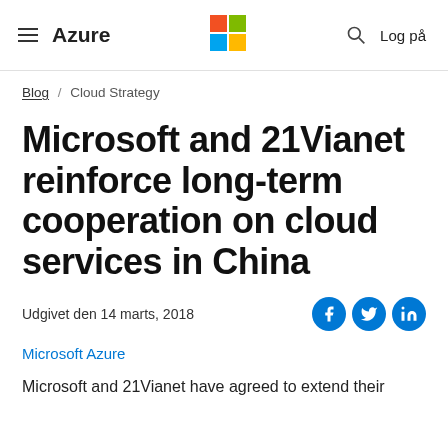≡ Azure  [Microsoft logo]  🔍  Log på
Blog / Cloud Strategy
Microsoft and 21Vianet reinforce long-term cooperation on cloud services in China
Udgivet den 14 marts, 2018
Microsoft Azure
Microsoft and 21Vianet have agreed to extend their